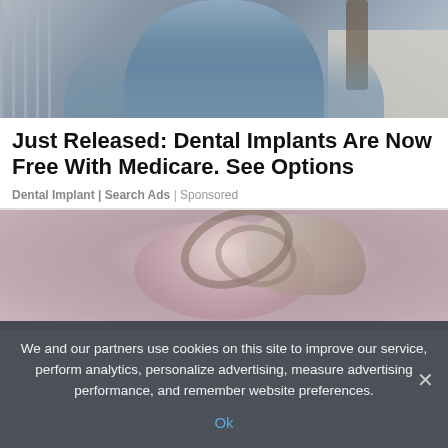[Figure (photo): Photo of a woman in a blue-grey fitted t-shirt standing outdoors on a sidewalk, partial view showing torso and arms]
Just Released: Dental Implants Are Now Free With Medicare. See Options
Dental Implant | Search Ads | Sponsored
[Figure (illustration): Illustrated image showing a stylized artistic depiction, partially visible, appears to be a decorative/fantasy illustration with swirling hair elements]
We and our partners use cookies on this site to improve our service, perform analytics, personalize advertising, measure advertising performance, and remember website preferences.
Ok